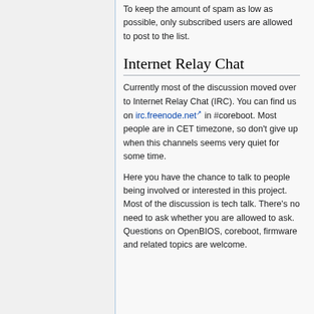To keep the amount of spam as low as possible, only subscribed users are allowed to post to the list.
Internet Relay Chat
Currently most of the discussion moved over to Internet Relay Chat (IRC). You can find us on irc.freenode.net in #coreboot. Most people are in CET timezone, so don't give up when this channels seems very quiet for some time.
Here you have the chance to talk to people being involved or interested in this project. Most of the discussion is tech talk. There's no need to ask whether you are allowed to ask. Questions on OpenBIOS, coreboot, firmware and related topics are welcome.